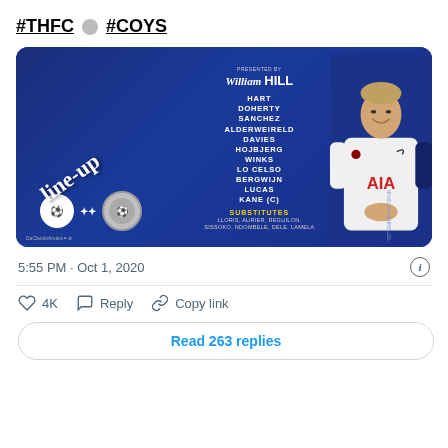#THFC #COYS
[Figure (infographic): Tottenham Hotspur lineup card sponsored by William Hill showing the starting XI: HART, DOHERTY, SANCHEZ, ALDERWEIRELD, DAVIES, HOJBJERG, WINKS, LO CELSO, BERGWIJN, LUCAS, KANE (C). Substitutes: LLORIS, AURIER, REGUILON, SISSOKO, NDOMBELE, DELE, LAMELA. Features a photo of Ben Davies in Spurs kit, Spurs and opponent club logos, 'Line-Up' text in cursive.]
5:55 PM · Oct 1, 2020
4K   Reply   Copy link
Read 263 replies